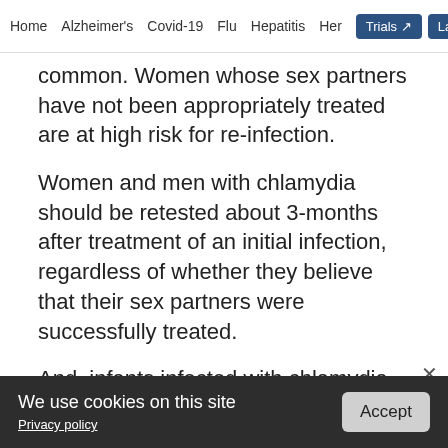Home  Alzheimer's  Covid-19  Flu  Hepatitis  Her  Trials  Labs
common. Women whose sex partners have not been appropriately treated are at high risk for re-infection.
Women and men with chlamydia should be retested about 3-months after treatment of an initial infection, regardless of whether they believe that their sex partners were successfully treated.
And, infants infected with chlamydia may develop
ADVERTISEMENT
We use cookies on this site
Privacy policy